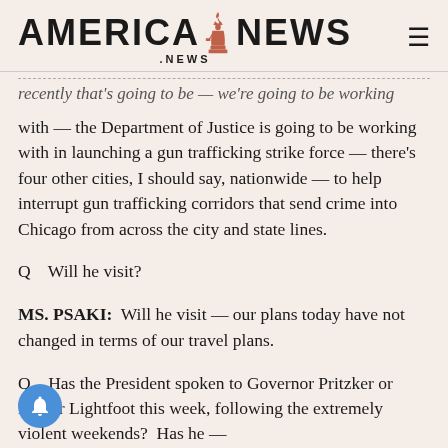AMERICA NEWS .NEWS
recently that's going to be — we're going to be working with — the Department of Justice is going to be working with in launching a gun trafficking strike force — there's four other cities, I should say, nationwide — to help interrupt gun trafficking corridors that send crime into Chicago from across the city and state lines.
Q    Will he visit?
MS. PSAKI:  Will he visit — our plans today have not changed in terms of our travel plans.
Q    Has the President spoken to Governor Pritzker or Mayor Lightfoot this week, following the extremely violent weekends?  Has he —
MS. PSAKI:  He's going to see both of them today.